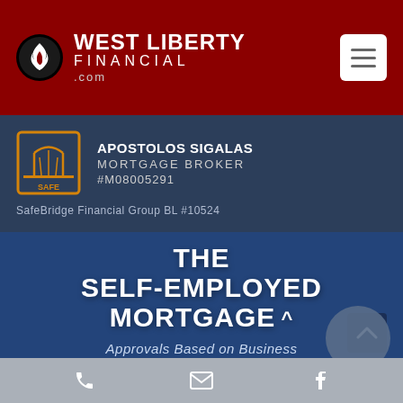[Figure (logo): West Liberty Financial logo with flame icon in circle and text 'WEST LIBERTY FINANCIAL .com' on dark red background with hamburger menu button]
APOSTOLOS SIGALAS
MORTGAGE BROKER
#M08005291
SafeBridge Financial Group BL #10524
THE SELF-EMPLOYED MORTGAGE
Approvals Based on Business
[Figure (other): Bottom navigation bar with phone, email, and Facebook icons]